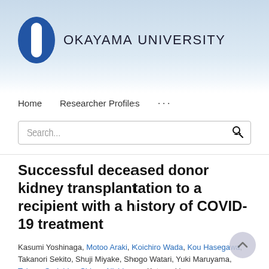[Figure (logo): Okayama University logo: blue oval shield with white vertical capsule shape in center, next to text 'OKAYAMA UNIVERSITY']
Home   Researcher Profiles   ...
Search...
Successful deceased donor kidney transplantation to a recipient with a history of COVID-19 treatment
Kasumi Yoshinaga, Motoo Araki, Koichiro Wada, Kou Hasegawa, Takanori Sekito, Shuji Miyake, Shogo Watari, Yuki Maruyama, Takuya Sadahira, Shingo Nishimura, Katsuyuki